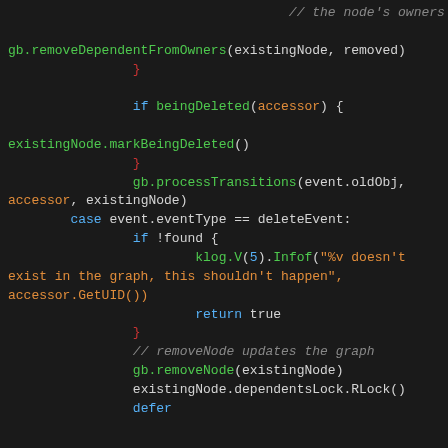// the node's owners list.
gb.removeDependentFromOwners(existingNode, removed)
                }

                if beingDeleted(accessor) {

existingNode.markBeingDeleted()
                }
                gb.processTransitions(event.oldObj,
accessor, existingNode)
        case event.eventType == deleteEvent:
                if !found {
                        klog.V(5).Infof("%v doesn't
exist in the graph, this shouldn't happen",
accessor.GetUID())
                        return true
                }
                // removeNode updates the graph
                gb.removeNode(existingNode)
                existingNode.dependentsLock.RLock()
                defer